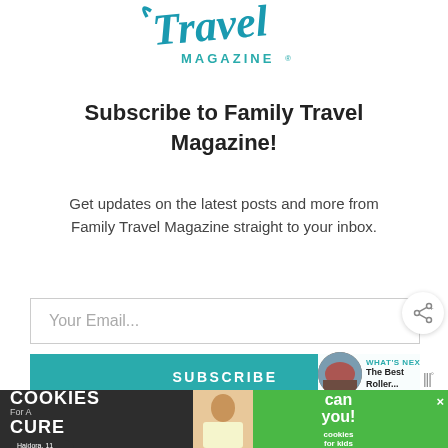[Figure (logo): Family Travel Magazine logo in teal/blue script font with 'MAGAZINE' in teal sans-serif below]
Subscribe to Family Travel Magazine!
Get updates on the latest posts and more from Family Travel Magazine straight to your inbox.
Your Email...
SUBSCRIBE
I consent to receiving emails and personalized ads.
[Figure (infographic): Advertisement banner: I Bake COOKIES For A CURE - Haidora, 11 Cancer Survivor - So can you! - cookies for kids cancer logo]